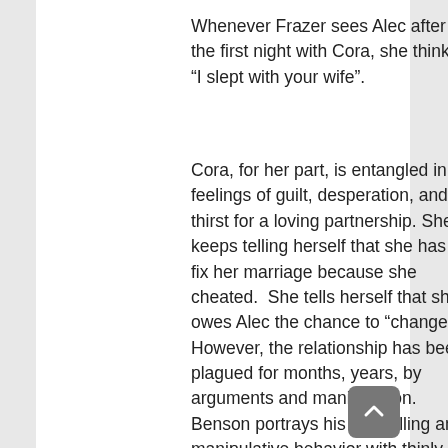Whenever Frazer sees Alec after the first night with Cora, she thinks “I slept with your wife”.
Cora, for her part, is entangled in feelings of guilt, desperation, and thirst for a loving partnership. She keeps telling herself that she has to fix her marriage because she cheated.  She tells herself that she owes Alec the chance to “change”. However, the relationship has been plagued for months, years, by arguments and manipulation. Benson portrays his controlling and manipulative behavior with thinly veiled hostility, rage, and arrogance. It’s when he doesn’t get his way that the mask slips. The scenes in which they argue show how Cora always ends up on the losing side, even when she’s in the “power seat” in her office. Scenes in which she accepts Alec’s version of events over her own nearly every time are